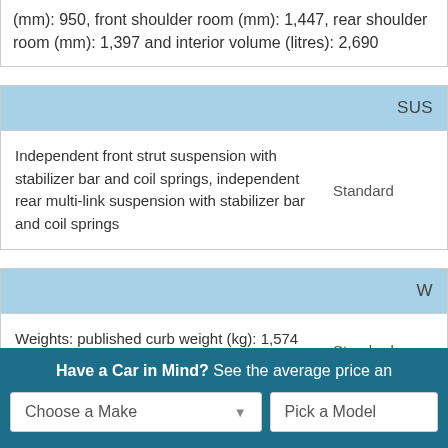(mm): 950, front shoulder room (mm): 1,447, rear shoulder room (mm): 1,397 and interior volume (litres): 2,690
| Feature | Value |
| --- | --- |
| Independent front strut suspension with stabilizer bar and coil springs, independent rear multi-link suspension with stabilizer bar and coil springs | Standard |
| Feature | Value |
| --- | --- |
| Weights: published curb weight (kg): 1,574 and Manufacturer's own | Standard |
Have a Car in Mind? See the average price an
Choose a Make
Pick a Model